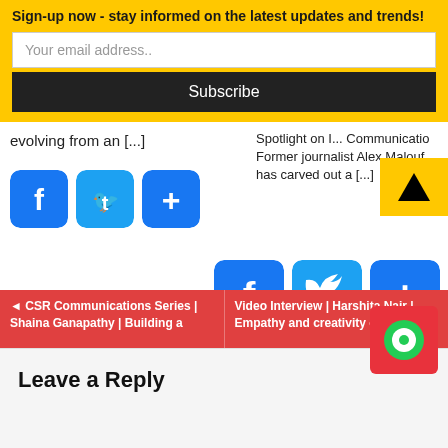Sign-up now - stay informed on the latest updates and trends!
Your email address..
Subscribe
evolving from an [...]
[Figure (other): Facebook, Twitter, and Share social media icon buttons (blue rounded squares)]
Spotlight on I... Communications Former journalist Alex Malouf has carved out a [...]
[Figure (other): Scroll to top button with triangle arrow on yellow background]
[Figure (other): Facebook, Twitter, and Share social media icon buttons (blue rounded squares, larger)]
◄ CSR Communications Series | Shaina Ganapathy | Building a
Video Interview | Harshita Nair | Empathy and creativity can
[Figure (other): Red chat/support widget button with green circle icon]
Leave a Reply